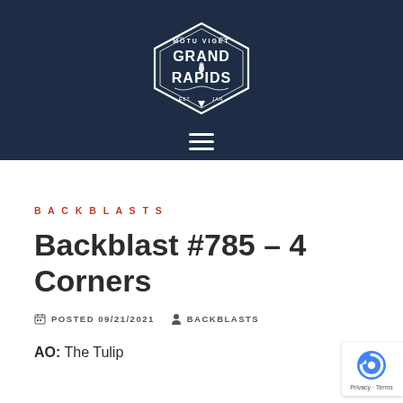[Figure (logo): Grand Rapids F3 logo — hexagon badge with text MOTU VIGET and GRAND RAPIDS, with torch/flame icon, on dark navy header background]
BACKBLASTS
Backblast #785 – 4 Corners
POSTED 09/21/2021  BACKBLASTS
AO: The Tulip